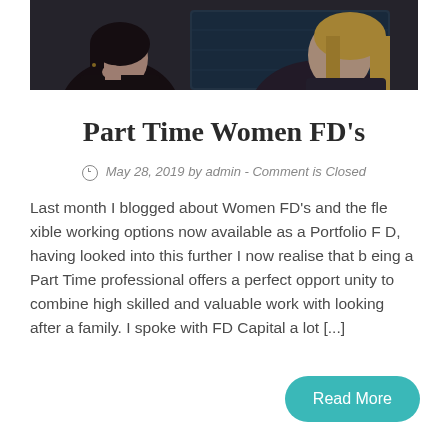[Figure (photo): Two women looking at a computer screen, dark and moody photo, one woman with dark hair resting her chin on her hand, another with lighter hair in the background]
Part Time Women FD's
May 28, 2019 by admin - Comment is Closed
Last month I blogged about Women FD's and the flexible working options now available as a Portfolio FD, having looked into this further I now realise that being a Part Time professional offers a perfect opportunity to combine high skilled and valuable work with looking after a family. I spoke with FD Capital a lot [...]
Read More